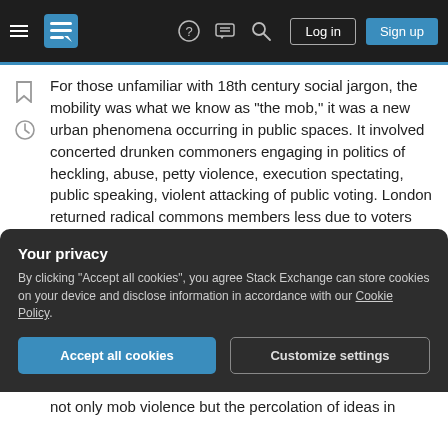Stack Exchange navigation bar with hamburger menu, logo, help, chat, search icons, Log in and Sign up buttons
For those unfamiliar with 18th century social jargon, the mobility was what we know as "the mob," it was a new urban phenomena occurring in public spaces. It involved concerted drunken commoners engaging in politics of heckling, abuse, petty violence, execution spectating, public speaking, violent attacking of public voting. London returned radical commons members less due to voters visibly and publicly casting ballots, than to the mobility's intimidation of those few with a franchise to vote in the mobs interests. The mobility was popular: it was
Your privacy
By clicking "Accept all cookies", you agree Stack Exchange can store cookies on your device and disclose information in accordance with our Cookie Policy.
not only mob violence but the percolation of ideas in